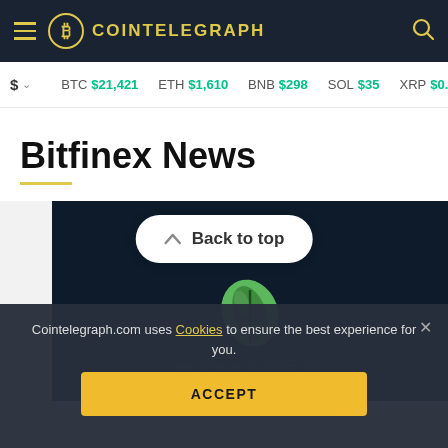COINTELEGRAPH
$ BTC $21,421 | ETH $1,610 | BNB $298 | SOL $35 | XRP $0.34
Bitfinex News
[Figure (screenshot): Bitfinex advertisement with green leaf logo and BITFINEX text on dark navy background, overlaid with a Back to top button (white rounded rectangle with chevron and text).]
Cointelegraph.com uses Cookies to ensure the best experience for you.
ACCEPT